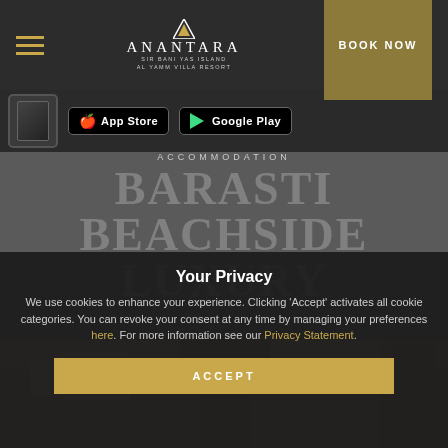ANANTARA SIR BANI YAS ISLAND AL YAMM VILLA RESORT — BOOK NOW
[Figure (screenshot): App Store and Google Play download buttons with phone icon on dark background]
ACCOMMODATION
BARASTI BEACHSIDE LUXURY
Your Privacy
We use cookies to enhance your experience. Clicking 'Accept' activates all cookie categories. You can revoke your consent at any time by managing your preferences here. For more information see our Privacy Statement.
ACCEPT
[Figure (photo): Bottom portion of a luxury beach villa room interior]